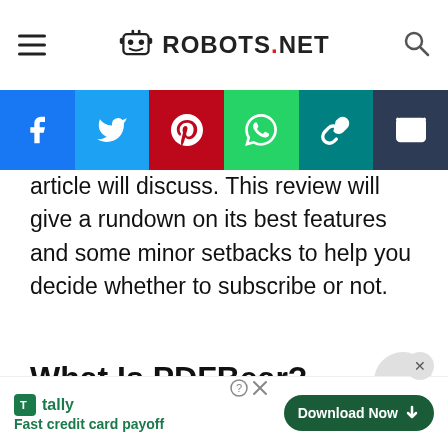ROBOTS.NET
[Figure (infographic): Social sharing bar with Facebook, Twitter, Pinterest, WhatsApp, copy link, and email buttons]
article will discuss. This review will give a rundown on its best features and some minor setbacks to help you decide whether to subscribe or not.
What Is PDFBear?
[Figure (screenshot): Content box / image placeholder at the bottom]
Tally – Fast credit card payoff | Download Now